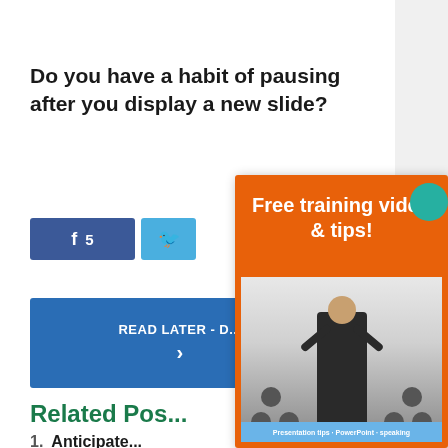Do you have a habit of pausing after you display a new slide?
[Figure (screenshot): Social share buttons: Facebook with count 5, and Twitter bird icon]
[Figure (screenshot): READ LATER - D... button with arrow]
Related Pos...
1. Anticipate...
[Figure (screenshot): Popup overlay on orange background with text 'Free training video & tips!' and photo of a presenter with arms raised in front of an audience. Teal badge in top right corner and blue banner at bottom.]